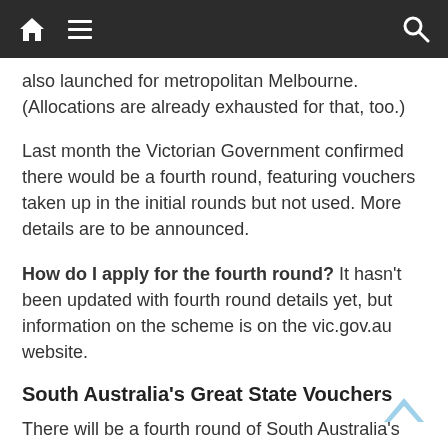Navigation bar with home, menu, and search icons
also launched for metropolitan Melbourne. (Allocations are already exhausted for that, too.)
Last month the Victorian Government confirmed there would be a fourth round, featuring vouchers taken up in the initial rounds but not used. More details are to be announced.
How do I apply for the fourth round? It hasn't been updated with fourth round details yet, but information on the scheme is on the vic.gov.au website.
South Australia's Great State Vouchers
There will be a fourth round of South Australia's travel voucher scheme launching in late May, following the success of the previous three rounds